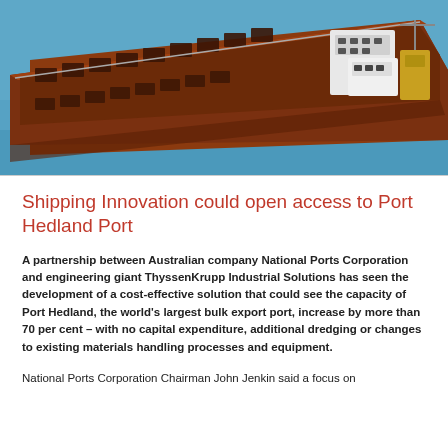[Figure (photo): Aerial rendering of a large flat-bottomed bulk carrier ship with rust-brown hull and white superstructure, floating on blue ocean water.]
Shipping Innovation could open access to Port Hedland Port
A partnership between Australian company National Ports Corporation and engineering giant ThyssenKrupp Industrial Solutions has seen the development of a cost-effective solution that could see the capacity of Port Hedland, the world's largest bulk export port, increase by more than 70 per cent – with no capital expenditure, additional dredging or changes to existing materials handling processes and equipment.
National Ports Corporation Chairman John Jenkin said a focus on